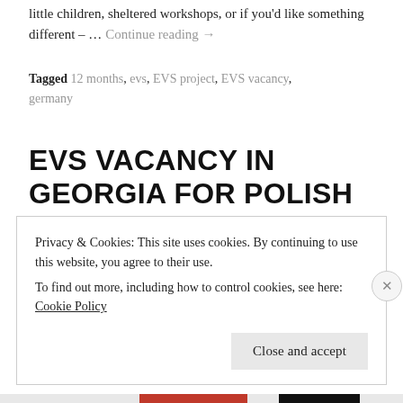little children, sheltered workshops, or if you'd like something different – … Continue reading →
Tagged 12 months, evs, EVS project, EVS vacancy, germany
EVS VACANCY IN GEORGIA FOR POLISH VOLUNTEER
Posted on August 7, 2017
Privacy & Cookies: This site uses cookies. By continuing to use this website, you agree to their use.
To find out more, including how to control cookies, see here: Cookie Policy